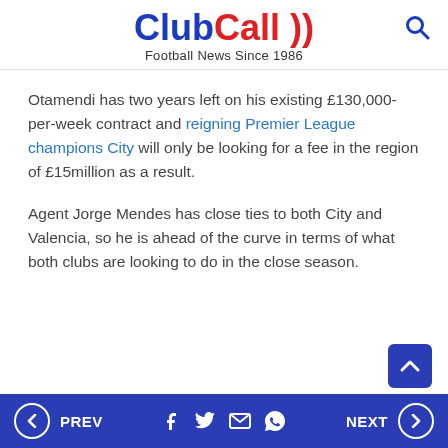[Figure (logo): ClubCall logo with blue 'Club' and red 'Call' text plus sound wave marks, subtitle 'Football News Since 1986']
Otamendi has two years left on his existing £130,000-per-week contract and reigning Premier League champions City will only be looking for a fee in the region of £15million as a result.
Agent Jorge Mendes has close ties to both City and Valencia, so he is ahead of the curve in terms of what both clubs are looking to do in the close season.
PREV | social icons | NEXT